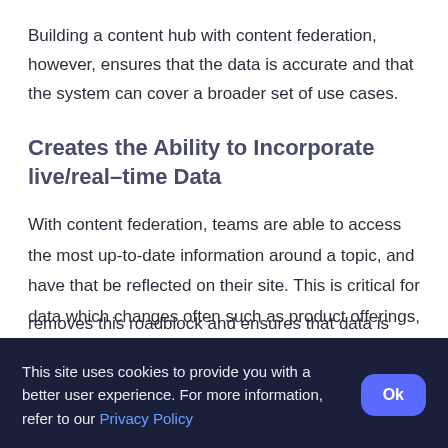Building a content hub with content federation, however, ensures that the data is accurate and that the system can cover a broader set of use cases.
Creates the Ability to Incorporate live/real–time Data
With content federation, teams are able to access the most up-to-date information around a topic, and have that be reflected on their site. This is critical for data which changes often such as product offerings, inventory, availability, prices, and weather. With a more rigid approach, teams are not able to create
removes this roadblock and ensures that data is
This site uses cookies to provide you with a better user experience. For more information, refer to our Privacy Policy